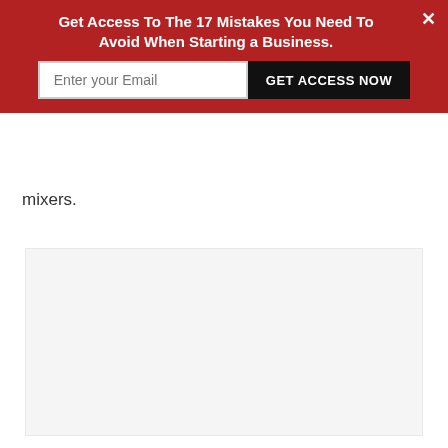Get Access To The 17 Mistakes You Need To Avoid When Starting a Business.
mixers.
[Figure (other): Large light gray placeholder image area below the text content]